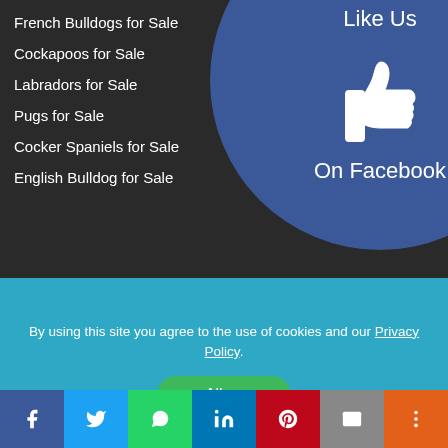French Bulldogs for Sale
Cockapoos for Sale
Labradors for Sale
Pugs for Sale
Cocker Spaniels for Sale
English Bulldog for Sale
[Figure (illustration): Facebook Like Us overlay circle with thumbs up icon, text 'Like Us' and 'On Facebook' on a dark blue (#3b5998) circular background with close X button]
[Figure (illustration): Instagram camera icon in the bottom dark strip]
By using this site you agree to the use of cookies and our Privacy Policy
[Figure (illustration): Allow button (green rounded rectangle)]
[Figure (infographic): Social share bar with Facebook, Twitter, WhatsApp, LinkedIn, Pinterest, Email, and More buttons]